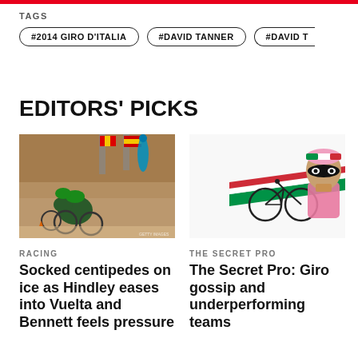TAGS
#2014 GIRO D'ITALIA
#DAVID TANNER
#DAVID T
EDITORS' PICKS
[Figure (photo): Cyclists in green jerseys riding in front of a stone building with flags]
RACING
Socked centipedes on ice as Hindley eases into Vuelta and Bennett feels pressure
[Figure (illustration): Illustrated character in pink cycling kit with black mask and Italian flag, with a bicycle]
THE SECRET PRO
The Secret Pro: Giro gossip and underperforming teams